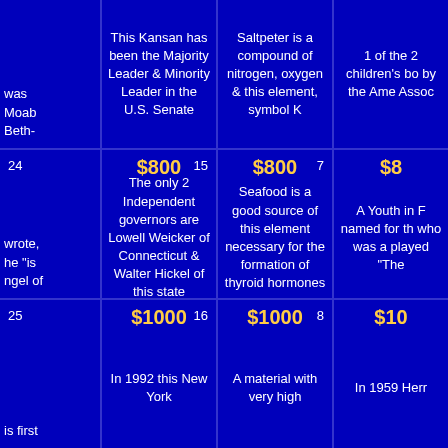| [partial left] | This Kansan has been the Majority Leader & Minority Leader in the U.S. Senate | Saltpeter is a compound of nitrogen, oxygen & this element, symbol K | [partial right: 1 of the 2 children's bo... by the Ame... Assoc...] |
| [left: 24, wrote, he 'is ngel of] | $800 | 15 | The only 2 Independent governors are Lowell Weicker of Connecticut & Walter Hickel of this state | $800 | 7 | Seafood is a good source of this element necessary for the formation of thyroid hormones | [right: $8... A Youth in F... named for th... who was a... played 'The...] |
| [left: 25, is first] | $1000 | 16 | In 1992 this New York... | $1000 | 8 | A material with very high... | [right: $10... In 1959 Herr...] |